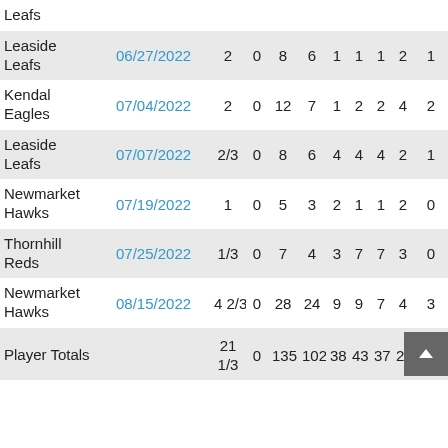| Team | Date | IP | ER | BF | H | BB | SO | HBP | HR | ... |
| --- | --- | --- | --- | --- | --- | --- | --- | --- | --- | --- |
| Leafs |  |  |  |  |  |  |  |  |  |  |
| Leaside Leafs | 06/27/2022 | 2 | 0 | 8 | 6 | 1 | 1 | 1 | 2 | 1 |
| Kendal Eagles | 07/04/2022 | 2 | 0 | 12 | 7 | 1 | 2 | 2 | 4 | 2 |
| Leaside Leafs | 07/07/2022 | 2/3 | 0 | 8 | 6 | 4 | 4 | 4 | 2 | 1 |
| Newmarket Hawks | 07/19/2022 | 1 | 0 | 5 | 3 | 2 | 1 | 1 | 2 | 0 |
| Thornhill Reds | 07/25/2022 | 1/3 | 0 | 7 | 4 | 3 | 7 | 7 | 3 | 0 |
| Newmarket Hawks | 08/15/2022 | 4 2/3 | 0 | 28 | 24 | 9 | 9 | 7 | 4 | 3 |
| Player Totals |  | 21 1/3 | 0 | 135 | 102 | 38 | 43 | 37 | 27 | 1 |